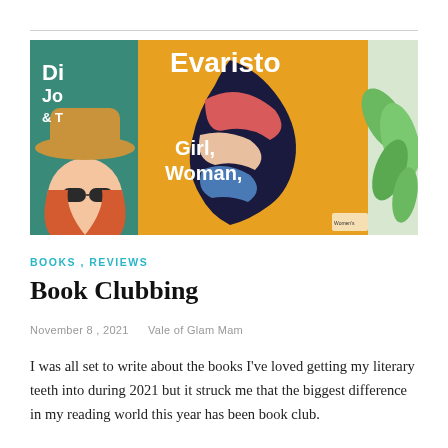[Figure (photo): Photo of book covers including Bernardine Evaristo 'Girl, Woman, Other' (yellow cover with illustrated face) and another book showing a woman in a hat and sunglasses with red hair. Green plant leaves visible on right side.]
BOOKS , REVIEWS
Book Clubbing
November 8 , 2021   Vale of Glam Mam
I was all set to write about the books I've loved getting my literary teeth into during 2021 but it struck me that the biggest difference in my reading world this year has been book club.